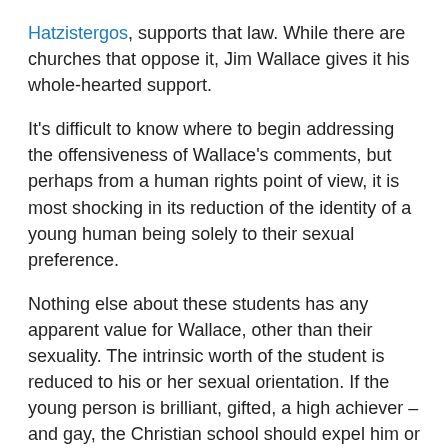Hatzistergos, supports that law. While there are churches that oppose it, Jim Wallace gives it his whole-hearted support.
It's difficult to know where to begin addressing the offensiveness of Wallace's comments, but perhaps from a human rights point of view, it is most shocking in its reduction of the identity of a young human being solely to their sexual preference.
Nothing else about these students has any apparent value for Wallace, other than their sexuality. The intrinsic worth of the student is reduced to his or her sexual orientation. If the young person is brilliant, gifted, a high achiever – and gay, the Christian school should expel him or her, according to the well known Christian, Wallace.